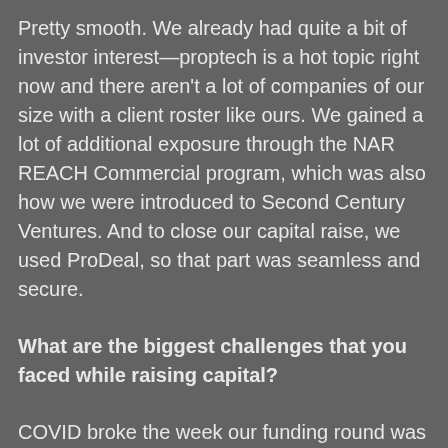Pretty smooth. We already had quite a bit of investor interest—proptech is a hot topic right now and there aren't a lot of companies of our size with a client roster like ours. We gained a lot of additional exposure through the NAR REACH Commercial program, which was also how we were introduced to Second Century Ventures. And to close our capital raise, we used ProDeal, so that part was seamless and secure.
What are the biggest challenges that you faced while raising capital?
COVID broke the week our funding round was originally supposed to close. We had to put that on hold until we had a better